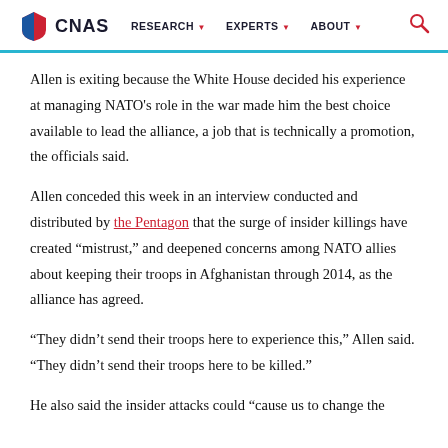CNAS | RESEARCH | EXPERTS | ABOUT
Allen is exiting because the White House decided his experience at managing NATO’s role in the war made him the best choice available to lead the alliance, a job that is technically a promotion, the officials said.
Allen conceded this week in an interview conducted and distributed by the Pentagon that the surge of insider killings have created “mistrust,” and deepened concerns among NATO allies about keeping their troops in Afghanistan through 2014, as the alliance has agreed.
“They didn’t send their troops here to experience this,” Allen said. “They didn’t send their troops here to be killed.”
He also said the insider attacks could “cause us to change the